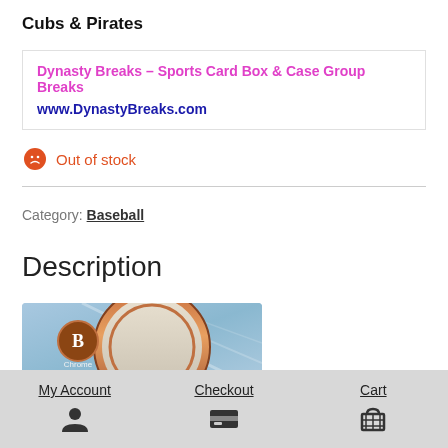Cubs & Pirates
Dynasty Breaks – Sports Card Box & Case Group Breaks
www.DynastyBreaks.com
Out of stock
Category: Baseball
Description
[Figure (photo): Bowman Chrome baseball card box image showing circular design with chrome/copper styling]
My Account  Checkout  Cart